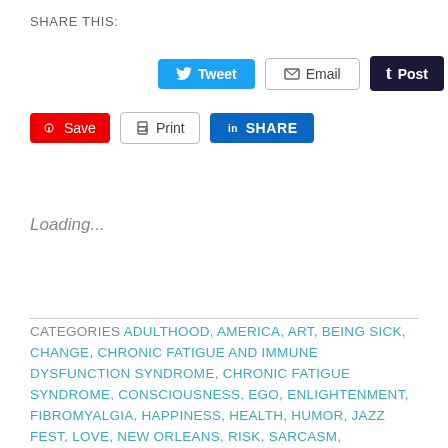SHARE THIS:
[Figure (screenshot): Social sharing buttons row 1: Tweet (blue), Email (outlined), Post (dark navy)]
[Figure (screenshot): Social sharing buttons row 2: Save (red/Pinterest), Print (outlined), SHARE (LinkedIn blue)]
Loading...
CATEGORIES  ADULTHOOD, AMERICA, ART, BEING SICK, CHANGE, CHRONIC FATIGUE AND IMMUNE DYSFUNCTION SYNDROME, CHRONIC FATIGUE SYNDROME, CONSCIOUSNESS, EGO, ENLIGHTENMENT, FIBROMYALGIA, HAPPINESS, HEALTH, HUMOR, JAZZ FEST, LOVE, NEW ORLEANS, RISK, SARCASM, SOLITUDE, SOUL, TIME, WISDOM, WRITING, YES
TAGS  AUTOIMMUNE DISEASES, CHRONIC FATIGUE SYNDROME, HEALTH, HUMOR, JAZZ FEST, LAUGHTER, LIFE, NEW ORLEANS,